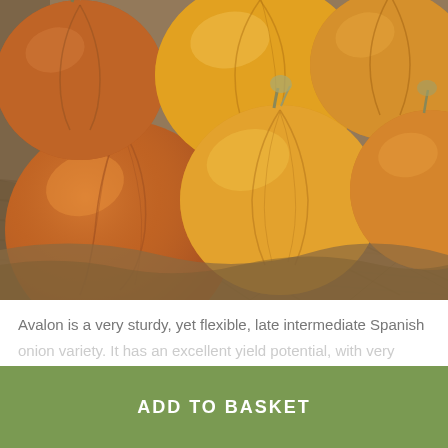[Figure (photo): Close-up photo of several large golden/amber onions resting in a burlap sack, showing their papery skins and stem ends]
Avalon is a very sturdy, yet flexible, late intermediate Spanish
(faded/obscured continuation of description text)
ADD TO BASKET